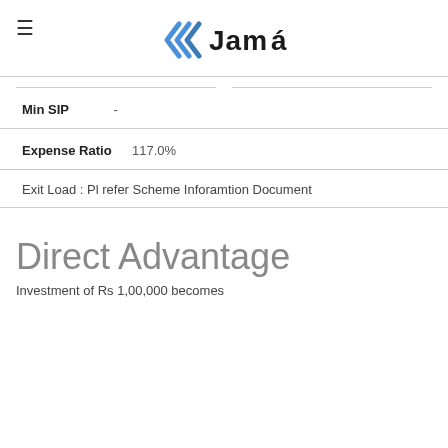Jama logo header
| Min SIP | - |
| Expense Ratio | 117.0% |
Exit Load : Pl refer Scheme Inforamtion Document
Direct Advantage
Investment of Rs 1,00,000 becomes